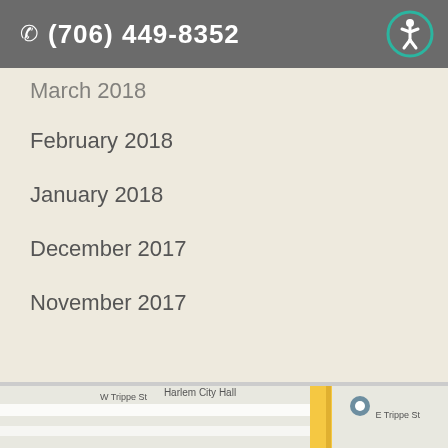(706) 449-8352
March 2018
February 2018
January 2018
December 2017
November 2017
[Figure (map): Google Map showing Harlem City Hall area with W Trippe St, N Bell St, E Trippe St, and Regions bank marker. A yellow vertical road runs through the center.]